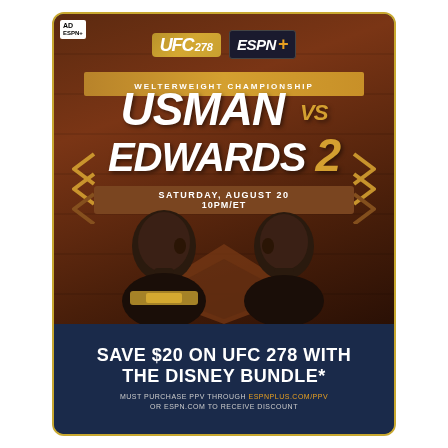[Figure (illustration): UFC 278 ESPN+ advertisement poster featuring Usman vs Edwards 2 Welterweight Championship fight, Saturday August 20 10PM/ET, with two fighters facing each other.]
SAVE $20 ON UFC 278 WITH THE DISNEY BUNDLE*
MUST PURCHASE PPV THROUGH ESPNPLUS.COM/PPV OR ESPN.COM TO RECEIVE DISCOUNT